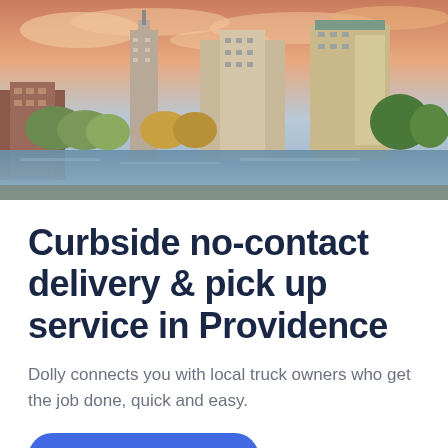[Figure (photo): Aerial/ground-level photo of Providence city skyline with tall buildings, autumn trees, and a river in the foreground under a colorful sunset sky.]
Curbside no-contact delivery & pick up service in Providence
Dolly connects you with local truck owners who get the job done, quick and easy.
Book a Dolly